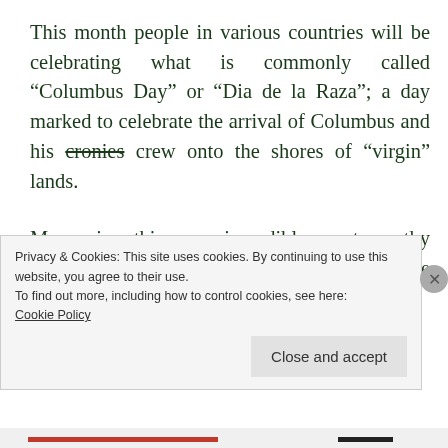This month people in various countries will be celebrating what is commonly called “Columbus Day” or “Dia de la Raza”; a day marked to celebrate the arrival of Columbus and his cronies crew onto the shores of “virgin” lands.
Many view this as an incredible event, worthy of celebration and joy.  At a time when the planet was believed to be flat and only dangers
Privacy & Cookies: This site uses cookies. By continuing to use this website, you agree to their use.
To find out more, including how to control cookies, see here:
Cookie Policy
Close and accept